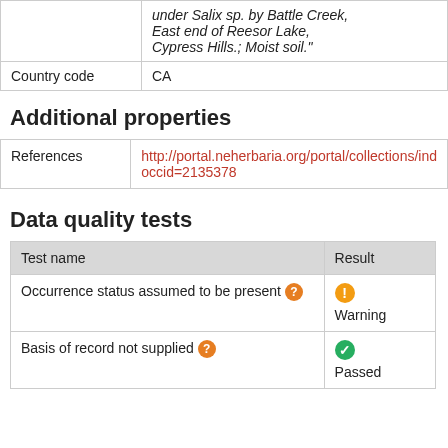|  | under Salix sp. by Battle Creek, East end of Reesor Lake, Cypress Hills.; Moist soil." |
| Country code | CA |
Additional properties
| References | http://portal.neherbaria.org/portal/collections/ind... occid=2135378 |
Data quality tests
| Test name | Result |
| --- | --- |
| Occurrence status assumed to be present ? | Warning |
| Basis of record not supplied ? | Passed |